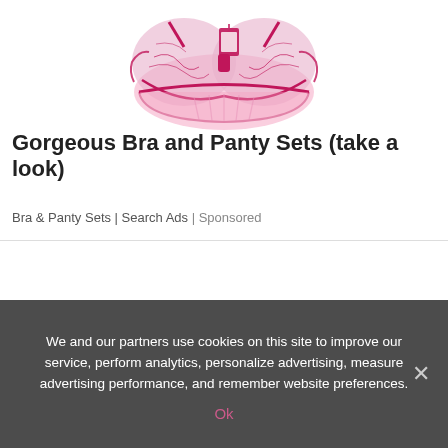[Figure (illustration): Pink and magenta lace bra and panty set illustration with decorative floral details and a label tag]
Gorgeous Bra and Panty Sets (take a look)
Bra & Panty Sets | Search Ads | Sponsored
We and our partners use cookies on this site to improve our service, perform analytics, personalize advertising, measure advertising performance, and remember website preferences.
Ok